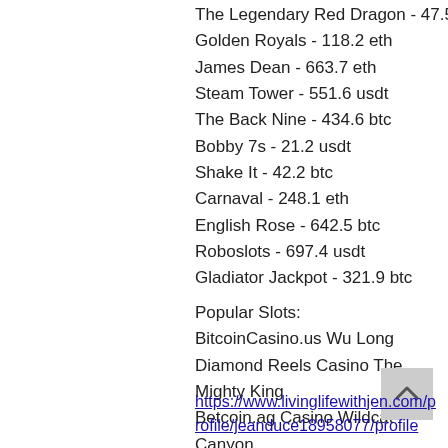The Legendary Red Dragon - 47.5 btc
Golden Royals - 118.2 eth
James Dean - 663.7 eth
Steam Tower - 551.6 usdt
The Back Nine - 434.6 btc
Bobby 7s - 21.2 usdt
Shake It - 42.2 btc
Carnaval - 248.1 eth
English Rose - 642.5 btc
Roboslots - 697.4 usdt
Gladiator Jackpot - 321.9 btc
Popular Slots:
BitcoinCasino.us Wu Long
Diamond Reels Casino The Mighty King
Betcoin.ag Casino Wildcat Canyon
OneHash Flea Market
https://www.livinglifewithjen.com/profile/jeanduce18958077/profile